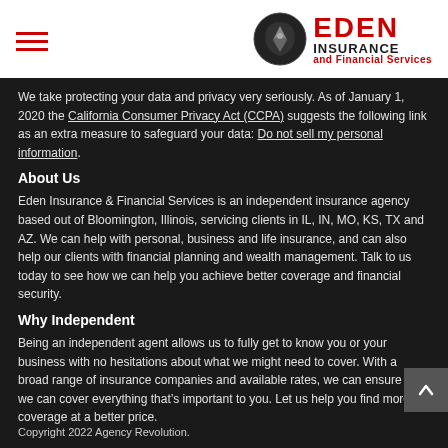Eden Insurance and Financial Services
We take protecting your data and privacy very seriously. As of January 1, 2020 the California Consumer Privacy Act (CCPA) suggests the following link as an extra measure to safeguard your data: Do not sell my personal information.
About Us
Eden Insurance & Financial Services is an independent insurance agency based out of Bloomington, Illinois, servicing clients in IL, IN, MO, KS, TX and AZ. We can help with personal, business and life insurance, and can also help our clients with financial planning and wealth management. Talk to us today to see how we can help you achieve better coverage and financial security.
Why Independent
Being an independent agent allows us to fully get to know you or your business with no hesitations about what we might need to cover. With a broad range of insurance companies and available rates, we can ensure that we can cover everything that’s important to you. Let us help you find more coverage at a better price.
Copyright 2022 Agency Revolution.